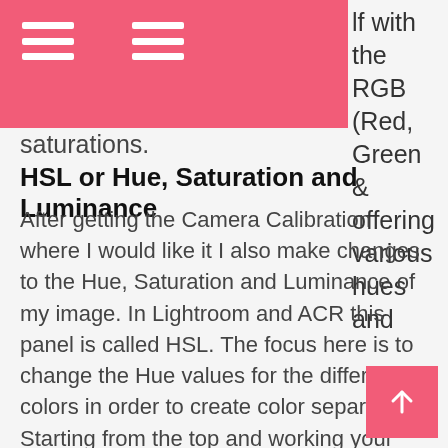lf with the RGB (Red, Green & offering various hues and saturations.
HSL or Hue, Saturation and Luminance
After getting the Camera Calibration where I would like it I also make changes to the Hue, Saturation and Luminance of my image. In Lightroom and ACR this panel is called HSL. The focus here is to change the Hue values for the different colors in order to create color separation. Starting from the top and working your way down is a good workflow otherwise your new changes tend to effect the old changes too much. This is a real quick and easy way of differentiating colors since both Lightroom and ACR already separate the hues for you, all you have to do is exploit it by changing them.
The beauty of all this is once you have found a